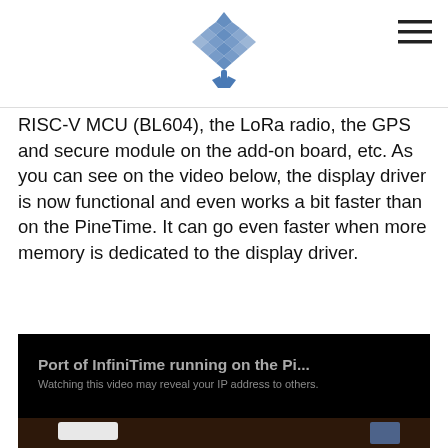Pine64 logo and navigation
RISC-V MCU (BL604), the LoRa radio, the GPS and secure module on the add-on board, etc. As you can see on the video below, the display driver is now functional and even works a bit faster than on the PineTime. It can go even faster when more memory is dedicated to the display driver.
[Figure (screenshot): Embedded video player with dark background showing title 'Port of InfiniTime running on the Pi...' and subtitle 'Watching this video may reveal your IP address to others.' with partial view of hardware at bottom.]